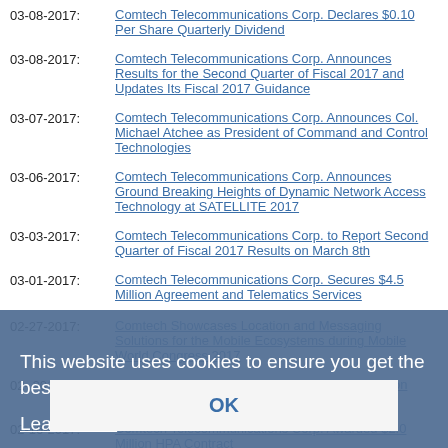03-08-2017: Comtech Telecommunications Corp. Declares $0.10 Per Share Quarterly Dividend
03-08-2017: Comtech Telecommunications Corp. Announces Results for the Second Quarter of Fiscal 2017 and Updates Its Fiscal 2017 Guidance
03-07-2017: Comtech Telecommunications Corp. Announces Col. Michael Atchee as President of Command and Control Technologies
03-06-2017: Comtech Telecommunications Corp. Announces Ground Breaking Heights of Dynamic Network Access Technology at SATELLITE 2017
03-03-2017: Comtech Telecommunications Corp. to Report Second Quarter of Fiscal 2017 Results on March 8th
03-01-2017: Comtech Telecommunications Corp. Secures $4.5 Million Agreement and Telematics Services
02-27-2017: Comtech Showcases Location and Messaging Solutions for the Mobile Ecosystems during Mobile World Congress 2017
02-[date]-2017: Comtech Telecommunications Corp. ... $1.5 Million Contract ...
02-16-2017: Comtech Telecommunications Corp. Awarded $2.0 Million HPA Contract
02-15-2017: Comtech Telecommunications Corp. Receives $2.5 Million in Orders for High-Power Amplifiers for Military Customers
02-14-2017: Comtech Telecommunications Corp. Awarded $[x.x] Million Follow-on High-Power SATCOM TWTAs
02-13-2017: Comtech Telecommunications Corp. Announces $3.3 Million Location Service Maintenance and Support Contract
This website uses cookies to ensure you get the best experience on our website. Learn more
OK